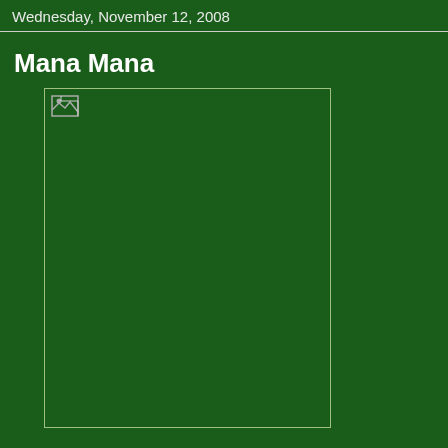Wednesday, November 12, 2008
Mana Mana
[Figure (photo): A large image placeholder with a broken image icon in the top-left corner, set against a dark green background with a light border.]